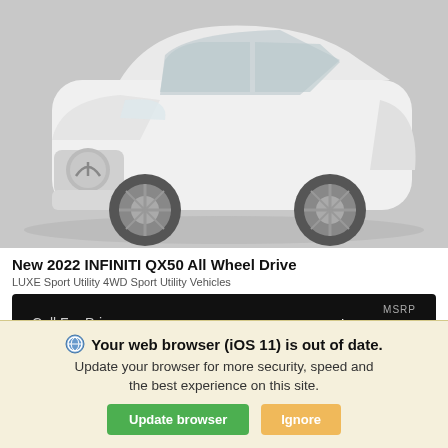[Figure (photo): White 2022 INFINITI QX50 All Wheel Drive SUV on a gray background, front three-quarter view]
New 2022 INFINITI QX50 All Wheel Drive
LUXE Sport Utility 4WD Sport Utility Vehicles
| Call For Price | MSRP |
| --- | --- |
| Call For Price | $46,235 |
Your web browser (iOS 11) is out of date. Update your browser for more security, speed and the best experience on this site.